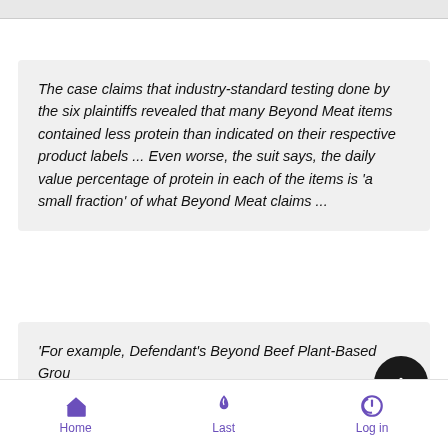The case claims that industry-standard testing done by the six plaintiffs revealed that many Beyond Meat items contained less protein than indicated on their respective product labels ... Even worse, the suit says, the daily value percentage of protein in each of the items is 'a small fraction' of what Beyond Meat claims ...
'For example, Defendant's Beyond Beef Plant-Based Grou 16oz Patties, which is labeled as '20G Per Serving' and '40%
Home  Last  Log in